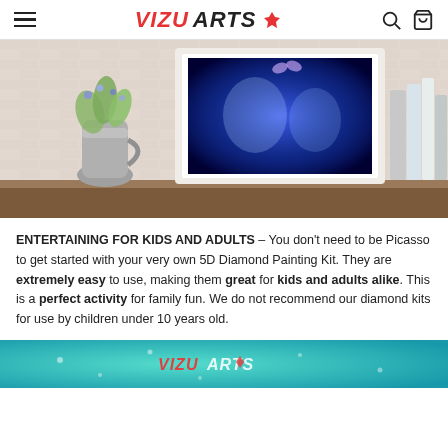VIZU ARTS
[Figure (photo): A framed diamond painting of two glowing blue tigers on a shelf, with a metal pitcher holding flowers and stacked books beside it.]
ENTERTAINING FOR KIDS AND ADULTS – You don't need to be Picasso to get started with your very own 5D Diamond Painting Kit. They are extremely easy to use, making them great for kids and adults alike. This is a perfect activity for family fun. We do not recommend our diamond kits for use by children under 10 years old.
[Figure (photo): Bottom partial image showing teal/turquoise diamond painting background with Vizu Arts logo overlay.]